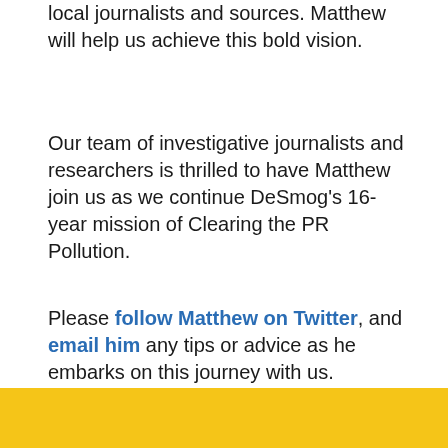local journalists and sources. Matthew will help us achieve this bold vision.
Our team of investigative journalists and researchers is thrilled to have Matthew join us as we continue DeSmog's 16-year mission of Clearing the PR Pollution.
Please follow Matthew on Twitter, and email him any tips or advice as he embarks on this journey with us.
[Figure (infographic): Row of five social media sharing icons (Facebook, Twitter, Pinterest, Reddit, Print) in circular grey buttons]
[Figure (other): Yellow/gold colored banner bar at the bottom of the page]